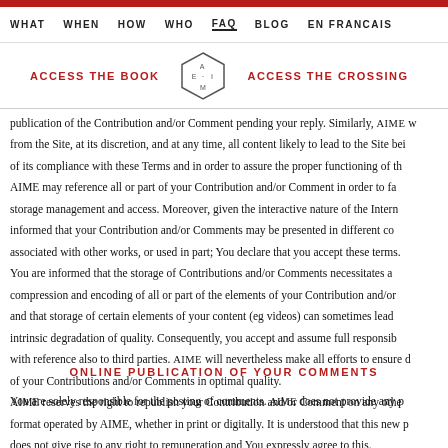WHAT  WHEN  HOW  WHO  FAQ  BLOG  EN FRANCAIS
ACCESS THE BOOK  [AEIM logo]  ACCESS THE CROSSING
publication of the Contribution and/or Comment pending your reply. Similarly, AIME w from the Site, at its discretion, and at any time, all content likely to lead to the Site bei of its compliance with these Terms and in order to assure the proper functioning of th AIME may reference all or part of your Contribution and/or Comment in order to fa storage management and access. Moreover, given the interactive nature of the Intern informed that your Contribution and/or Comments may be presented in different co associated with other works, or used in part; You declare that you accept these terms. You are informed that the storage of Contributions and/or Comments necessitates a compression and encoding of all or part of the elements of your Contribution and/or and that storage of certain elements of your content (eg videos) can sometimes lead intrinsic degradation of quality. Consequently, you accept and assume full responsib with reference also to third parties. AIME will nevertheless make all efforts to ensure d of your Contributions and/or Comments in optimal quality. AIME reserves the right to republish your Contribution and/or Comment on any othe format operated by AIME, whether in print or digitally. It is understood that this new p does not give rise to any right to remuneration and You expressly agree to this.
ONLINE PUBLICATION OF YOUR COMMENTS
You are solely responsible for the posting of comments. AIME does not provide any p